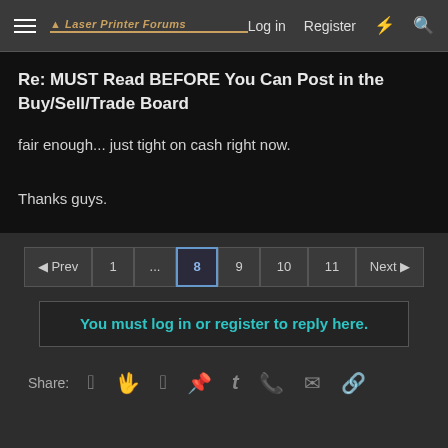Laser Printer Forums | Log in | Register
Re: MUST Read BEFORE You Can Post in the Buy/Sell/Trade Board
fair enough... just tight on cash right now.
Thanks guys.
« Prev  1  ...  8  9  10  11  Next »
You must log in or register to reply here.
Share: